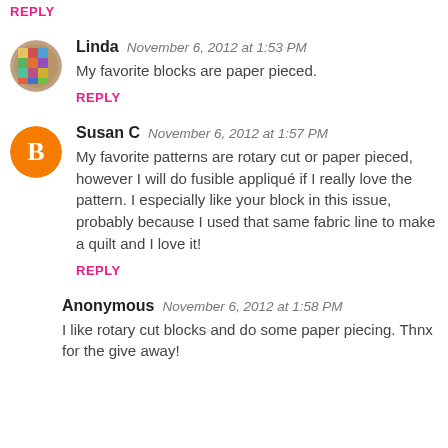REPLY
Linda  November 6, 2012 at 1:53 PM
My favorite blocks are paper pieced.
REPLY
Susan C  November 6, 2012 at 1:57 PM
My favorite patterns are rotary cut or paper pieced, however I will do fusible appliqué if I really love the pattern. I especially like your block in this issue, probably because I used that same fabric line to make a quilt and I love it!
REPLY
Anonymous  November 6, 2012 at 1:58 PM
I like rotary cut blocks and do some paper piecing. Thnx for the give away!